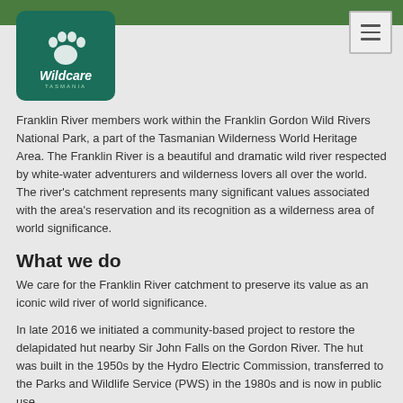Wildcare Tasmania
[Figure (logo): Wildcare Tasmania logo - green rounded square with paw print and text 'Wildcare Tasmania']
Franklin River members work within the Franklin Gordon Wild Rivers National Park, a part of the Tasmanian Wilderness World Heritage Area. The Franklin River is a beautiful and dramatic wild river respected by white-water adventurers and wilderness lovers all over the world. The river’s catchment represents many significant values associated with the area’s reservation and its recognition as a wilderness area of world significance.
What we do
We care for the Franklin River catchment to preserve its value as an iconic wild river of world significance.
In late 2016 we initiated a community-based project to restore the delapidated hut nearby Sir John Falls on the Gordon River. The hut was built in the 1950s by the Hydro Electric Commission, transferred to the Parks and Wildlife Service (PWS) in the 1980s and is now in public use.